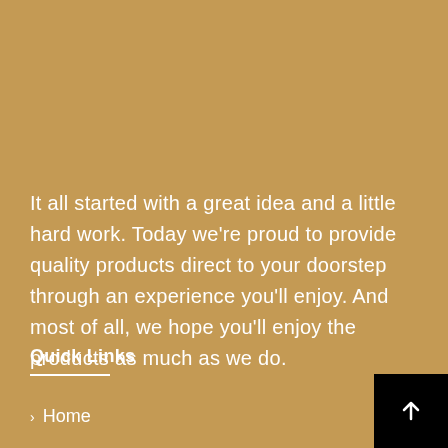It all started with a great idea and a little hard work. Today we're proud to provide quality products direct to your doorstep through an experience you'll enjoy. And most of all, we hope you'll enjoy the products as much as we do.
Quick Links
Home